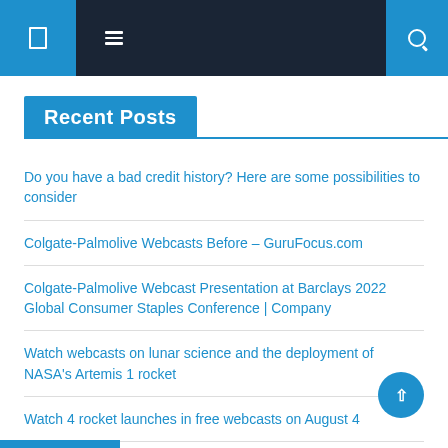Navigation bar with icons
Recent Posts
Do you have a bad credit history? Here are some possibilities to consider
Colgate-Palmolive Webcasts Before – GuruFocus.com
Colgate-Palmolive Webcast Presentation at Barclays 2022 Global Consumer Staples Conference | Company
Watch webcasts on lunar science and the deployment of NASA's Artemis 1 rocket
Watch 4 rocket launches in free webcasts on August 4
Watch NASA's Artemis 1 Mission Preview Webcasts for Free